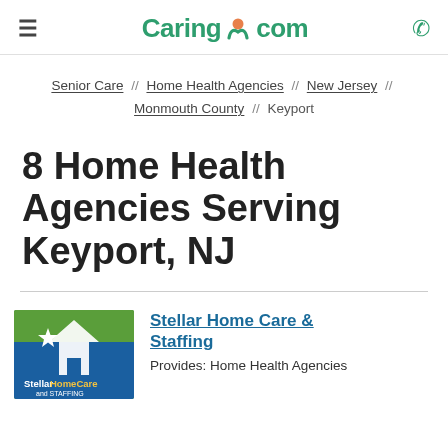≡  Caring.com  📞
Senior Care // Home Health Agencies // New Jersey // Monmouth County // Keyport
8 Home Health Agencies Serving Keyport, NJ
[Figure (logo): Stellar Home Care and Staffing company logo — green and blue background with house and star icon, white text]
Stellar Home Care & Staffing
Provides: Home Health Agencies